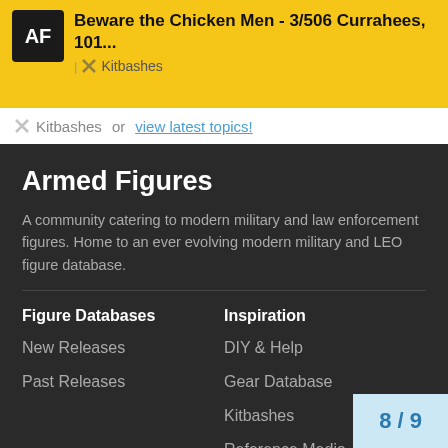Beware the Chicken Men - 3/506 Currahees, 101... | Kitbashes
Kitbashes or view latest topics!
Armed Figures
A community catering to modern military and law enforcement figures. Home to an ever evolving modern military and LEO figure database.
Figure Databases
New Releases
Past Releases
Inspiration
DIY & Help
Gear Database
Kitbashes
Reference Media
8 / 9